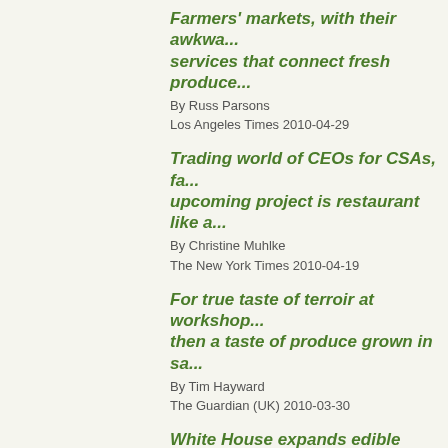Farmers' markets, with their awkwa... services that connect fresh produce...
By Russ Parsons
Los Angeles Times 2010-04-29
Trading world of CEOs for CSAs, fa... upcoming project is restaurant like a...
By Christine Muhlke
The New York Times 2010-04-19
For true taste of terroir at workshop... then a taste of produce grown in sa...
By Tim Hayward
The Guardian (UK) 2010-03-30
White House expands edible garden... yielded almost 50 pounds of produc...
By Anne Schroeder Mullins
Politico 2010-03-31
Third-generation Louisiana rice farm... and takes on maverick status
By Christine Muhlke
The New York Times 2010-03-...